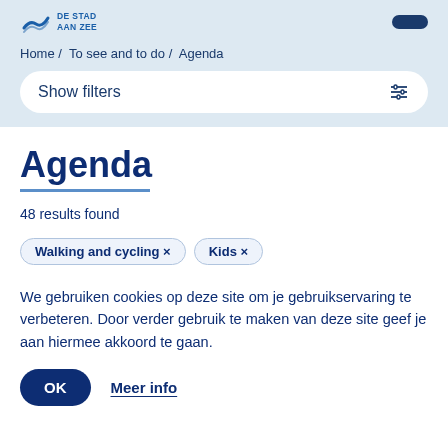[Figure (logo): City logo with wave icon and text DE STAD AAN ZEE]
Home / To see and to do / Agenda
Show filters
Agenda
48 results found
Walking and cycling ×
Kids ×
We gebruiken cookies op deze site om je gebruikservaring te verbeteren. Door verder gebruik te maken van deze site geef je aan hiermee akkoord te gaan.
OK
Meer info